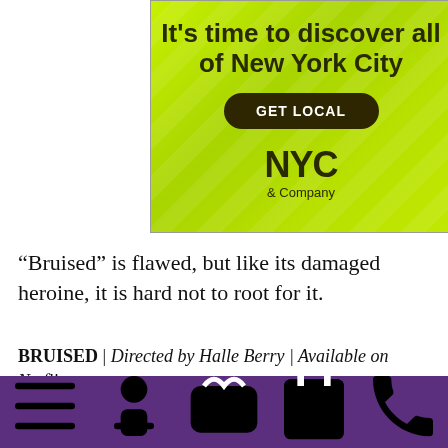[Figure (illustration): NYC & Company advertisement on lime green leafy background. Headline: 'It's time to discover all of New York City'. Button: 'GET LOCAL'. Logo: 'NYC & Company'.]
“Bruised” is flawed, but like its damaged heroine, it is hard not to root for it.
BRUISED | Directed by Halle Berry | Available on Netflix.
[Figure (other): Social sharing buttons: Facebook (blue), Twitter (light blue), Email (red-orange)]
Sections | Jobs | Games | Events | Contact